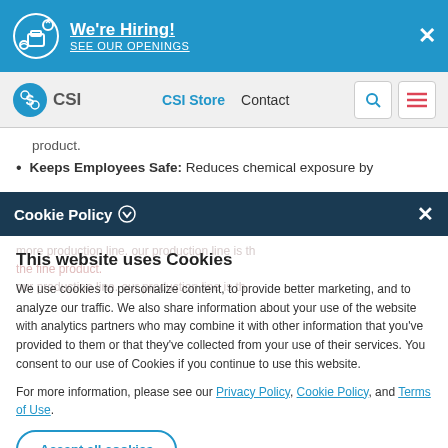[Figure (screenshot): Hiring banner with briefcase icon, 'We're Hiring! SEE OUR OPENINGS' text in white on blue background, with close X button]
[Figure (screenshot): CSI website navigation bar with logo, CSI Store link, Contact link, search and menu icons]
product.
Keeps Employees Safe: Reduces chemical exposure by
Cookie Policy
This website uses Cookies
We use cookies to personalize content, to provide better marketing, and to analyze our traffic. We also share information about your use of the website with analytics partners who may combine it with other information that you've provided to them or that they've collected from your use of their services. You consent to our use of Cookies if you continue to use this website.
For more information, please see our Privacy Policy, Cookie Policy, and Terms of Use.
Accept all cookies